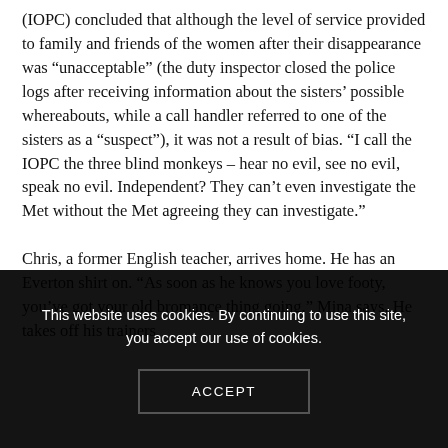(IOPC) concluded that although the level of service provided to family and friends of the women after their disappearance was "unacceptable" (the duty inspector closed the police logs after receiving information about the sisters' possible whereabouts, while a call handler referred to one of the sisters as a "suspect"), it was not a result of bias. "I call the IOPC the three blind monkeys – hear no evil, see no evil, speak no evil. Independent? They can't even investigate the Met without the Met agreeing they can investigate."
Chris, a former English teacher, arrives home. He has an Everton shirt on. "As soon as he knows you love footy, you've got your old bromance thing going," Mina says. He takes off his trainers...
This website uses cookies. By continuing to use this site, you accept our use of cookies.
ACCEPT